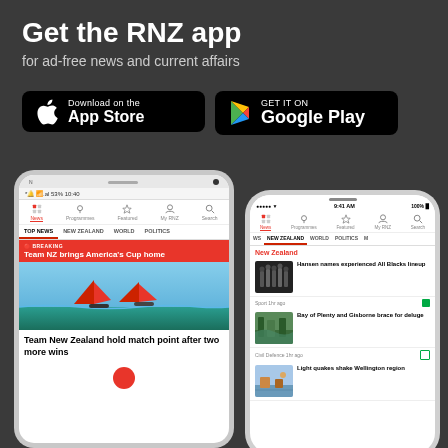Get the RNZ app
for ad-free news and current affairs
[Figure (screenshot): App Store download button (black rounded rectangle with Apple logo, 'Download on the App Store' text)]
[Figure (screenshot): Google Play download button (black rounded rectangle with Play triangle logo, 'GET IT ON Google Play' text)]
[Figure (screenshot): Two smartphones showing the RNZ app interface. Left: Android phone showing breaking news 'Team NZ brings America's Cup home' with sailboat image and headline 'Team New Zealand hold match point after two more wins'. Right: iPhone showing New Zealand news section with stories including 'Hansen names experienced All Blacks lineup', 'Bay of Plenty and Gisborne brace for deluge', and 'Light quakes shake Wellington region'.]